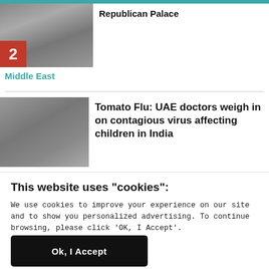[Figure (photo): News article thumbnail with number badge '2' and crowd/building scene]
Republican Palace
Middle East
[Figure (photo): News article thumbnail showing a street scene]
Tomato Flu: UAE doctors weigh in on contagious virus affecting children in India
This website uses "cookies":
We use cookies to improve your experience on our site and to show you personalized advertising. To continue browsing, please click 'OK, I Accept'.
For more information, please read our Privacy Policy
Ok, I Accept